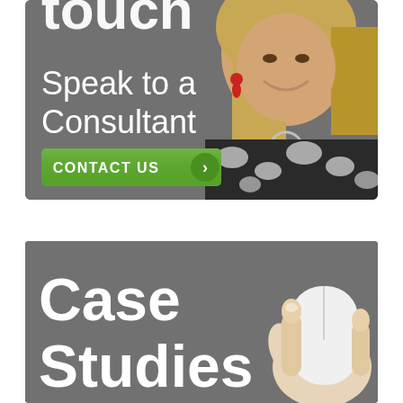[Figure (illustration): Gray background banner with a smiling blonde woman wearing red earrings and a floral dress. Large white text says 'touch' (partially cut off at top), 'Speak to a Consultant'. A green button with white text reads 'CONTACT US' with a chevron arrow icon.]
[Figure (illustration): Gray background banner with bold white text reading 'Case Studies'. On the right side, a hand holding a white computer mouse is partially visible.]